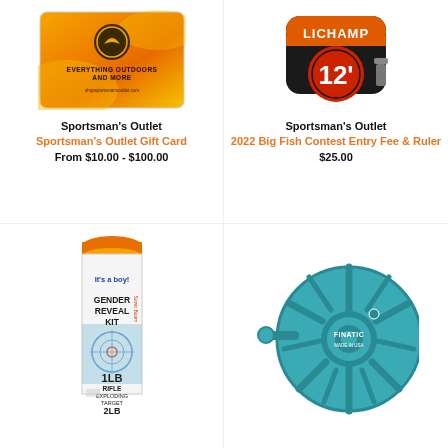[Figure (photo): Sportsman's Outlet gift card with orange background, bird silhouette logo, text 'EVERYTHING OUTDOORS AND MORE shopsportsmansoutlet.com']
Sportsman's Outlet
Sportsman's Outlet Gift Card
From $10.00 - $100.00
[Figure (photo): LICHAMP orange and black 12-foot tape measure]
Sportsman's Outlet
2022 Big Fish Contest Entry Fee & Ruler
$25.00
[Figure (photo): Sonic Boom gender reveal kit canister, blue, 'It's a boy!' text, 1LB Rifle Exploding Target 2LB]
[Figure (photo): Finatic teal/turquoise fly fishing reel, Made in USA]